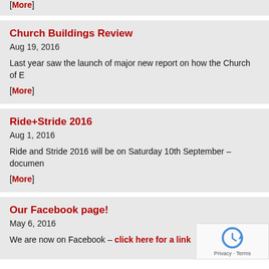[More]
Church Buildings Review
Aug 19, 2016
Last year saw the launch of major new report on how the Church of E
[More]
Ride+Stride 2016
Aug 1, 2016
Ride and Stride 2016 will be on Saturday 10th September – documen
[More]
Our Facebook page!
May 6, 2016
We are now on Facebook – click here for a link